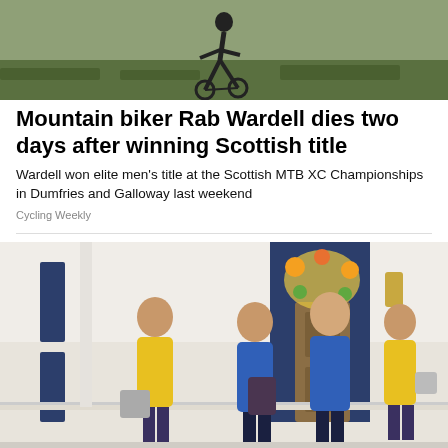[Figure (photo): Silhouette of a mountain biker against a green grassy background]
Mountain biker Rab Wardell dies two days after winning Scottish title
Wardell won elite men's title at the Scottish MTB XC Championships in Dumfries and Galloway last weekend
Cycling Weekly
[Figure (photo): Four people wearing blue and yellow polo shirts standing on a porch in front of a house, holding cleaning supplies and buckets]